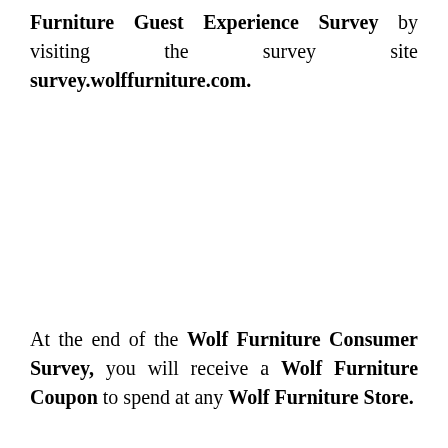Furniture Guest Experience Survey by visiting the survey site survey.wolffurniture.com.
At the end of the Wolf Furniture Consumer Survey, you will receive a Wolf Furniture Coupon to spend at any Wolf Furniture Store.